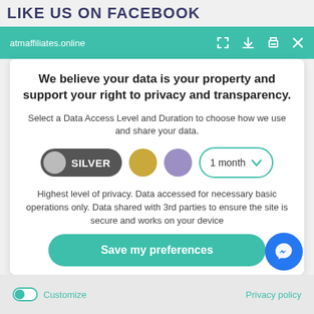LIKE US ON FACEBOOK
atmaffiliates.online
We believe your data is your property and support your right to privacy and transparency.
Select a Data Access Level and Duration to choose how we use and share your data.
[Figure (other): Privacy level selector with SILVER pill button (dark gray with gray circle), gold circle, purple circle, and '1 month' dropdown with teal border]
Highest level of privacy. Data accessed for necessary basic operations only. Data shared with 3rd parties to ensure the site is secure and works on your device
Save my preferences
Customize
Privacy policy